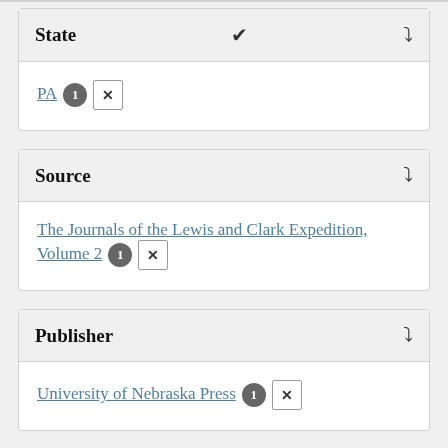State
PA 1 ✕
Source
The Journals of the Lewis and Clark Expedition, Volume 2 1 ✕
Publisher
University of Nebraska Press 1 ✕